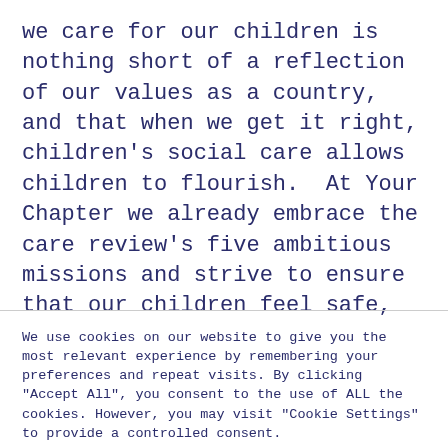we care for our children is nothing short of a reflection of our values as a country, and that when we get it right, children's social care allows children to flourish.  At Your Chapter we already embrace the care review's five ambitious missions and strive to ensure that our children feel safe, and secure, promote loving relationships, receive a quality education
We use cookies on our website to give you the most relevant experience by remembering your preferences and repeat visits. By clicking "Accept All", you consent to the use of ALL the cookies. However, you may visit "Cookie Settings" to provide a controlled consent.